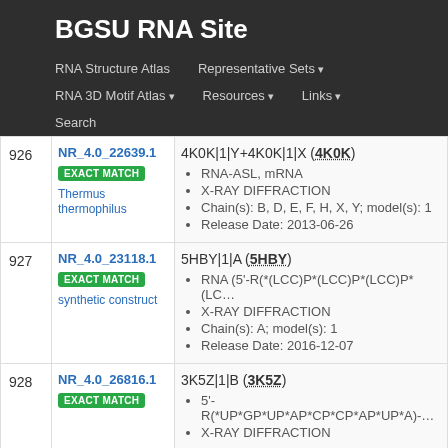BGSU RNA Site
RNA Structure Atlas | Representative Sets | RNA 3D Motif Atlas | Resources | Links | Search
| # | ID / Match / Organism | Details |
| --- | --- | --- |
| 926 | NR_4.0_22639.1 | EXACT MATCH | Thermus thermophilus | 4K0K|1|Y+4K0K|1|X (4K0K) • RNA-ASL, mRNA • X-RAY DIFFRACTION • Chain(s): B, D, E, F, H, X, Y; model(s): 1 • Release Date: 2013-06-26 |
| 927 | NR_4.0_23118.1 | EXACT MATCH | synthetic construct | 5HBY|1|A (5HBY) • RNA (5'-R(*(LCC)P*(LCC)P*(LCC)P*(LCC... • X-RAY DIFFRACTION • Chain(s): A; model(s): 1 • Release Date: 2016-12-07 |
| 928 | NR_4.0_26816.1 | EXACT MATCH | 3K5Z|1|B (3K5Z) • 5'-R(*UP*GP*UP*AP*CP*CP*AP*UP*A)-… • X-RAY DIFFRACTION |